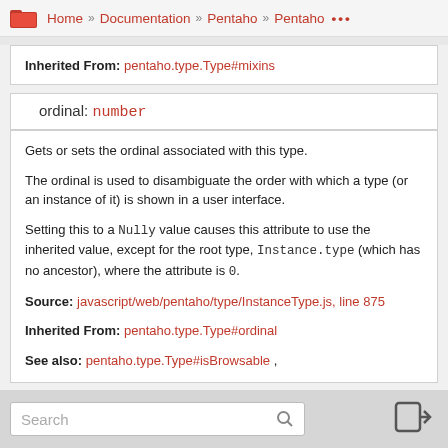Home » Documentation » Pentaho » Pentaho ...
Inherited From: pentaho.type.Type#mixins
ordinal: number
Gets or sets the ordinal associated with this type.

The ordinal is used to disambiguate the order with which a type (or an instance of it) is shown in a user interface.

Setting this to a Nully value causes this attribute to use the inherited value, except for the root type, Instance.type (which has no ancestor), where the attribute is 0.

Source: javascript/web/pentaho/type/InstanceType.js, line 875

Inherited From: pentaho.type.Type#ordinal

See also: pentaho.type.Type#isBrowsable ,
Search